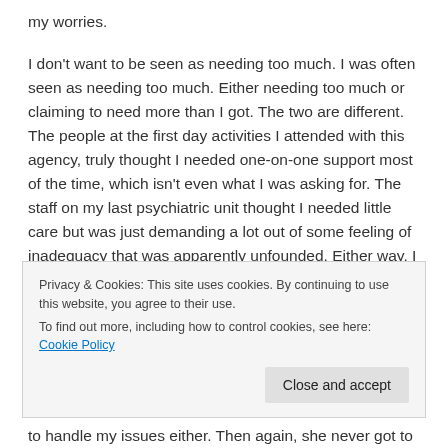my worries.
I don't want to be seen as needing too much. I was often seen as needing too much. Either needing too much or claiming to need more than I got. The two are different. The people at the first day activities I attended with this agency, truly thought I needed one-on-one support most of the time, which isn't even what I was asking for. The staff on my last psychiatric unit thought I needed little care but was just demanding a lot out of some feeling of inadequacy that was apparently unfounded. Either way, I was asked to leave the place. With the psych ward, things were a little nastier than with the day center, but the result
Privacy & Cookies: This site uses cookies. By continuing to use this website, you agree to their use.
To find out more, including how to control cookies, see here: Cookie Policy
to handle my issues either. Then again, she never got to